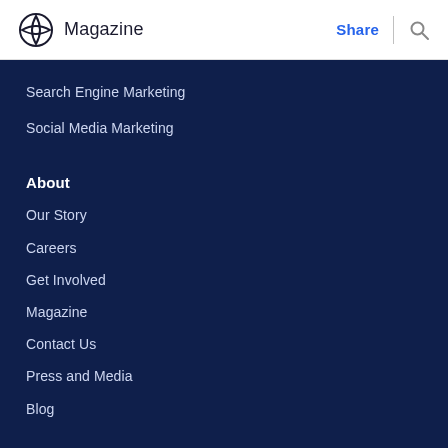Magazine
Search Engine Marketing
Social Media Marketing
About
Our Story
Careers
Get Involved
Magazine
Contact Us
Press and Media
Blog
For Companies
Hire Our Grads